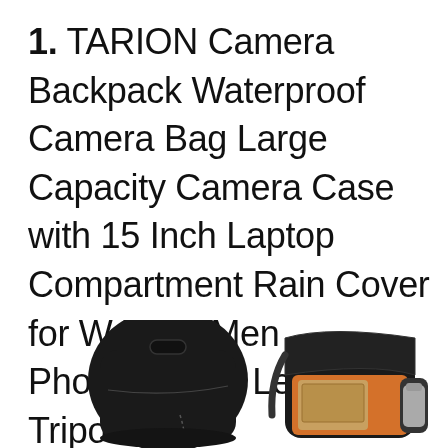1. TARION Camera Backpack Waterproof Camera Bag Large Capacity Camera Case with 15 Inch Laptop Compartment Rain Cover for Women Men Photographer Lens Tripod
[Figure (photo): Photo of a TARION camera backpack shown from two angles: left side shows the closed black backpack with a carry handle on top, right side shows the backpack open revealing orange interior lining, laptop compartment, and a metal water bottle in the side pocket.]